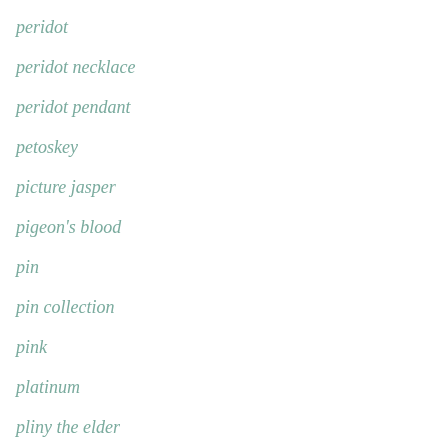peridot
peridot necklace
peridot pendant
petoskey
picture jasper
pigeon's blood
pin
pin collection
pink
platinum
pliny the elder
polished sterling silver
politican